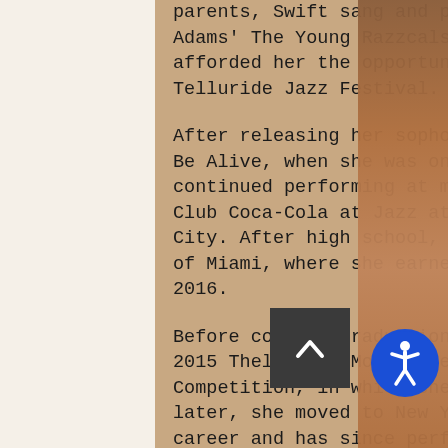parents, Swift sang and played trumpet with Dave Adams' The Young Razzcals Jazz Project, which afforded her the opportunity to perform at the Telluride Jazz Festival.
After releasing her sophomore album, It's Great to Be Alive, when she was only 11 years old, Swift continued performing at major venues such as Dizzy's Club Coca-Cola at Jazz at Lincoln Center in New York City. After high school, she attended the University of Miami, where she earned her bachelor's degree in 2016.
Before college graduation, Swift competed in the 2015 Thelonious Monk International Vocal Competition, in which she placed second. Two years later, she moved to New York City to further her career and has since performed
[Figure (other): Scroll-to-top button (dark grey square with upward chevron arrow)]
[Figure (other): Accessibility icon button (blue circle with white person/wheelchair symbol)]